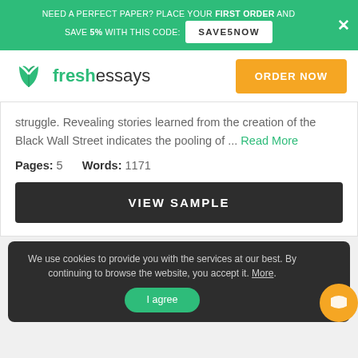NEED A PERFECT PAPER? PLACE YOUR FIRST ORDER AND SAVE 5% WITH THIS CODE: SAVE5NOW
[Figure (logo): FreshEssays logo with green open book icon and text 'freshessays']
struggle. Revealing stories learned from the creation of the Black Wall Street indicates the pooling of ... Read More
Pages: 5    Words: 1171
VIEW SAMPLE
We use cookies to provide you with the services at our best. By continuing to browse the website, you accept it. More. I agree